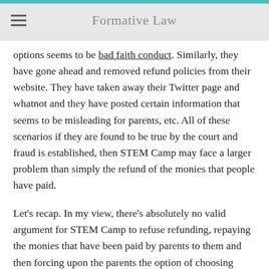Formative Law
options seems to be bad faith conduct. Similarly, they have gone ahead and removed refund policies from their website. They have taken away their Twitter page and whatnot and they have posted certain information that seems to be misleading for parents, etc. All of these scenarios if they are found to be true by the court and fraud is established, then STEM Camp may face a larger problem than simply the refund of the monies that people have paid.
Let's recap. In my view, there's absolutely no valid argument for STEM Camp to refuse refunding, repaying the monies that have been paid by parents to them and then forcing upon the parents the option of choosing between virtual and donating the money is rather absurd.  It's not legally valid.  I can see that there are potential issues that may give rise to claims for fraud or bad faith conduct which will be problematic.
In the next lecture: Now, if you are one of those parents who are entitled to claim, refund – how do you avoid going to court? Just by simply getting your payments reversed by credit card companies, if you have made by credit card it's called chargeback